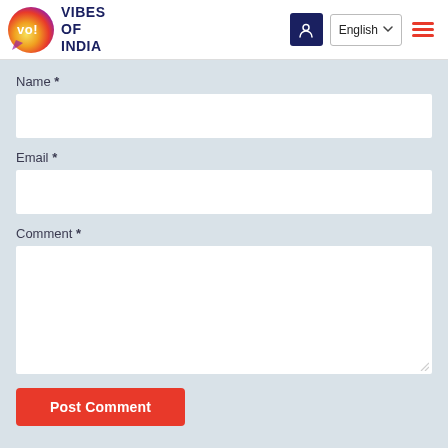[Figure (logo): Vibes of India logo — circular orange/yellow flame gradient with 'vo!' text in white, beside bold dark blue text 'VIBES OF INDIA']
English
Name *
Email *
Comment *
Post Comment